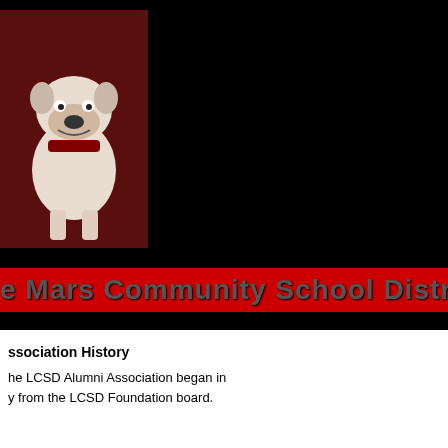[Figure (illustration): Bulldog mascot illustration on dark red/maroon background, upper left corner of page header]
Le Mars Community School District
Association History
The LCSD Alumni Association began in [year] from the LCSD Foundation board.